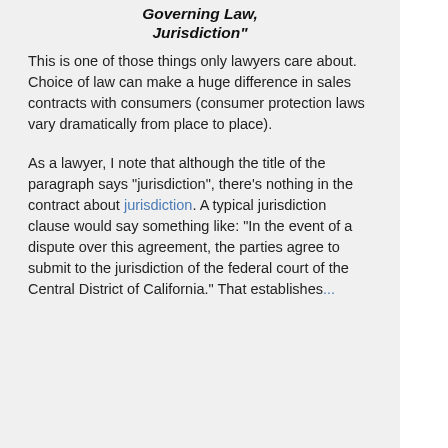Governing Law, Jurisdiction"
This is one of those things only lawyers care about. Choice of law can make a huge difference in sales contracts with consumers (consumer protection laws vary dramatically from place to place).
As a lawyer, I note that although the title of the paragraph says "jurisdiction", there's nothing in the contract about jurisdiction. A typical jurisdiction clause would say something like: "In the event of a dispute over this agreement, the parties agree to submit to the jurisdiction of the federal court of the Central District of California." That establishes...